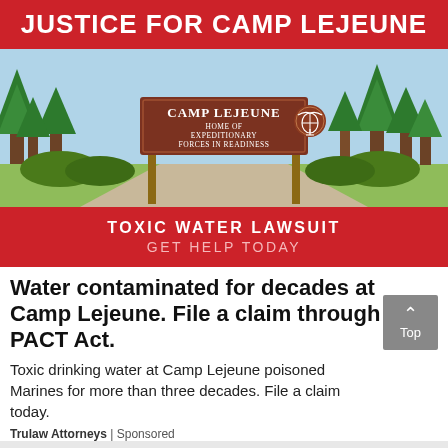JUSTICE FOR CAMP LEJEUNE
[Figure (illustration): Illustrated Camp Lejeune entrance sign reading 'CAMP LEJEUNE HOME OF EXPEDITIONARY FORCES IN READINESS' with trees and USMC eagle globe anchor emblem in background]
TOXIC WATER LAWSUIT
GET HELP TODAY
Water contaminated for decades at Camp Lejeune. File a claim through the PACT Act.
Toxic drinking water at Camp Lejeune poisoned Marines for more than three decades. File a claim today.
Trulaw Attorneys | Sponsored
[Figure (photo): Black tactical flashlight or rifle scope attachment product photo on gray background]